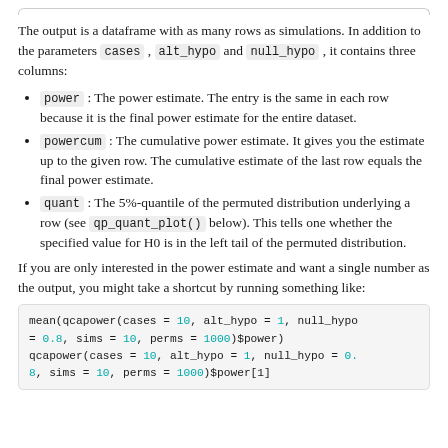The output is a dataframe with as many rows as simulations. In addition to the parameters cases, alt_hypo and null_hypo, it contains three columns:
power: The power estimate. The entry is the same in each row because it is the final power estimate for the entire dataset.
powercum: The cumulative power estimate. It gives you the estimate up to the given row. The cumulative estimate of the last row equals the final power estimate.
quant: The 5%-quantile of the permuted distribution underlying a row (see qp_quant_plot() below). This tells one whether the specified value for H0 is in the left tail of the permuted distribution.
If you are only interested in the power estimate and want a single number as the output, you might take a shortcut by running something like:
mean(qcapower(cases = 10, alt_hypo = 1, null_hypo = 0.8, sims = 10, perms = 1000)$power)
qcapower(cases = 10, alt_hypo = 1, null_hypo = 0.
8, sims = 10, perms = 1000)$power[1]